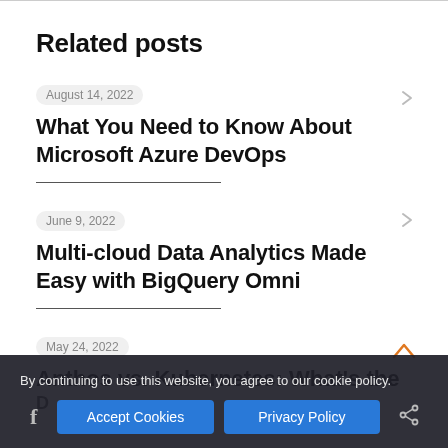Related posts
August 14, 2022
What You Need to Know About Microsoft Azure DevOps
June 9, 2022
Multi-cloud Data Analytics Made Easy with BigQuery Omni
May 24, 2022
Anthos vs. Kubernetes: What's the D...
By continuing to use this website, you agree to our cookie policy.
Accept Cookies   Privacy Policy